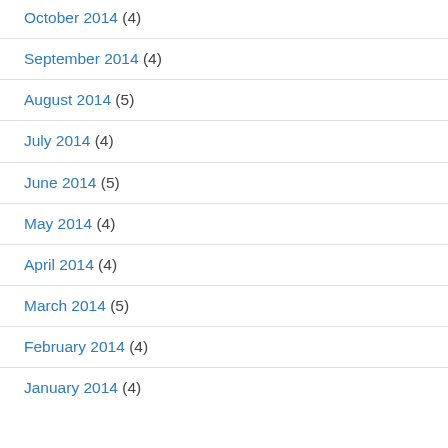October 2014 (4)
September 2014 (4)
August 2014 (5)
July 2014 (4)
June 2014 (5)
May 2014 (4)
April 2014 (4)
March 2014 (5)
February 2014 (4)
January 2014 (4)